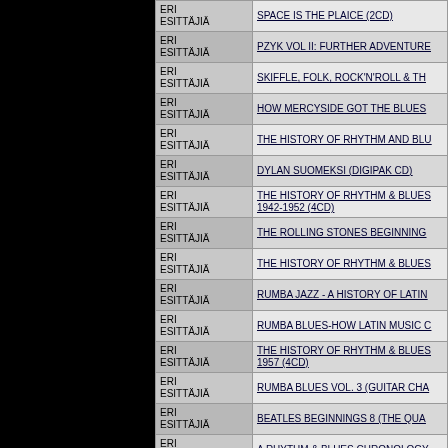| Artist | Title |
| --- | --- |
| ERI ESITTÄJIÄ | SPACE IS THE PLAICE (2CD) |
| ERI ESITTÄJIÄ | PZYK VOL II: FURTHER ADVENTURE |
| ERI ESITTÄJIÄ | SKIFFLE, FOLK, ROCK'N'ROLL & TH |
| ERI ESITTÄJIÄ | HOW MERCYSIDE GOT THE BLUES |
| ERI ESITTÄJIÄ | THE HISTORY OF RHYTHM AND BLU |
| ERI ESITTÄJIÄ | DYLAN SUOMEKSI (DIGIPAK CD) |
| ERI ESITTÄJIÄ | THE HISTORY OF RHYTHM & BLUES 1942-1952 (4CD) |
| ERI ESITTÄJIÄ | THE ROLLING STONES BEGINNING |
| ERI ESITTÄJIÄ | THE HISTORY OF RHYTHM & BLUES |
| ERI ESITTÄJIÄ | RUMBA JAZZ - A HISTORY OF LATIN |
| ERI ESITTÄJIÄ | RUMBA BLUES-HOW LATIN MUSIC C |
| ERI ESITTÄJIÄ | THE HISTORY OF RHYTHM & BLUES 1957 (4CD) |
| ERI ESITTÄJIÄ | RUMBA BLUES VOL. 3 (GUITAR CHA |
| ERI ESITTÄJIÄ | BEATLES BEGINNINGS 8 (THE QUA |
| ERI ESITTÄJIÄ | A RHYTHM & BLUES CHRONOLOGY |
| ERI ESITTÄJIÄ | A RHYTHM & BLUES CHRONOLOGY |
| ERI ESITTÄJIÄ | A RHYTHM & BLUES CHRONOLOGY |
| ERI ESITTÄJIÄ | RUMBA BLUES FROM THE 1940S (L |